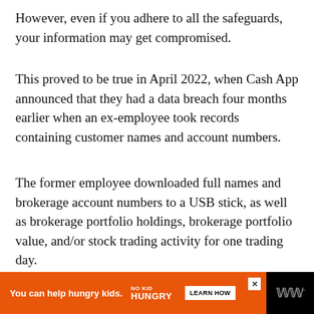However, even if you adhere to all the safeguards, your information may get compromised.
This proved to be true in April 2022, when Cash App announced that they had a data breach four months earlier when an ex-employee took records containing customer names and account numbers.
The former employee downloaded full names and brokerage account numbers to a USB stick, as well as brokerage portfolio holdings, brokerage portfolio value, and/or stock trading activity for one trading day.
[Figure (other): Advertisement banner: orange background with text 'You can help hungry kids.' alongside No Kid Hungry logo and a 'LEARN HOW' button. Black background on right side with WW logo.]